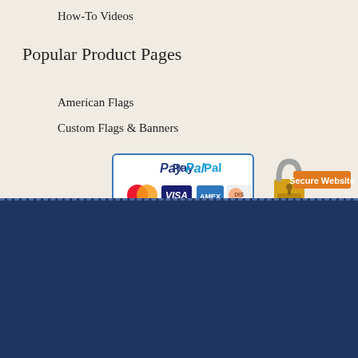How-To Videos
Popular Product Pages
American Flags
Custom Flags & Banners
[Figure (logo): PayPal accepted payment methods badge showing MasterCard, Visa, Amex, Discover]
[Figure (logo): GeoTrust Secure Website padlock badge]
Gettysburg Flag® Works, Inc.
715 Columbia Turnpike
East Greenbush, NY 12061
Map & Directions
Ph: 1-888-697-3524
Regular Hours: M-F: 9:00-5:00 EST
[Figure (illustration): Social media icons: Facebook, LinkedIn, Pinterest, Twitter, YouTube, Instagram, and a store/globe icon]